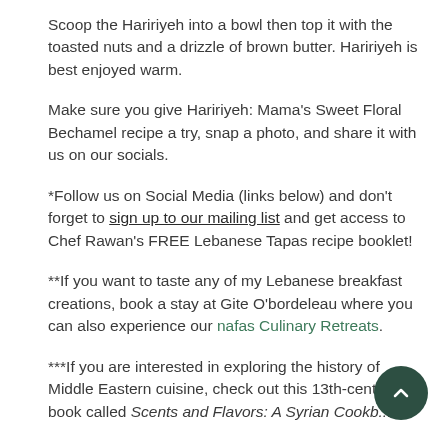Scoop the Haririyeh into a bowl then top it with the toasted nuts and a drizzle of brown butter. Haririyeh is best enjoyed warm.
Make sure you give Haririyeh: Mama's Sweet Floral Bechamel recipe a try, snap a photo, and share it with us on our socials.
*Follow us on Social Media (links below) and don't forget to sign up to our mailing list and get access to Chef Rawan's FREE Lebanese Tapas recipe booklet!
**If you want to taste any of my Lebanese breakfast creations, book a stay at Gite O'bordeleau where you can also experience our nafas Culinary Retreats.
***If you are interested in exploring the history of Middle Eastern cuisine, check out this 13th-century book called Scents and Flavors: A Syrian Cookbook...